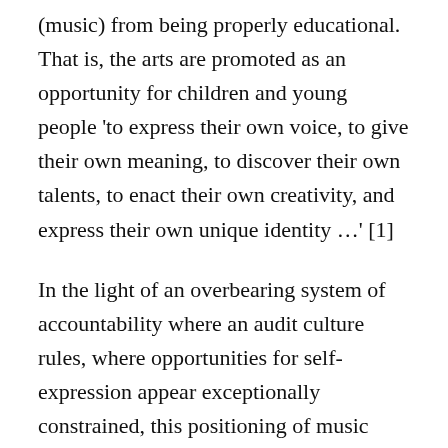(music) from being properly educational. That is, the arts are promoted as an opportunity for children and young people 'to express their own voice, to give their own meaning, to discover their own talents, to enact their own creativity, and express their own unique identity …' [1]
In the light of an overbearing system of accountability where an audit culture rules, where opportunities for self-expression appear exceptionally constrained, this positioning of music education as antidote is attractive.
Privacy & Cookies: This site uses cookies. By continuing to use this website, you agree to their use. To find out more, including how to control cookies, see here: Cookie Policy [Close and accept button]
While recognising the opportunities provided by a